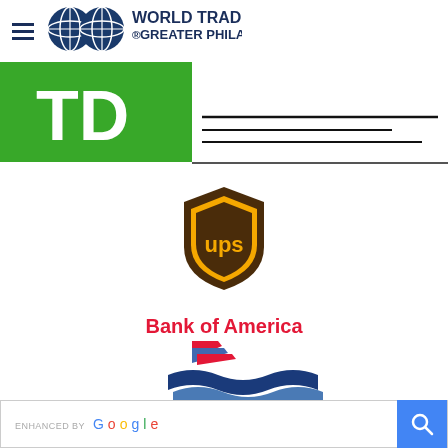[Figure (logo): World Trade Center Greater Philadelphia logo with globe icons and navigation hamburger icon]
[Figure (logo): TD Bank logo (partial, green background with white TD letters)]
[Figure (logo): Partial second logo (partially visible, cropped at top edge)]
[Figure (logo): UPS shield logo in brown and gold with white UPS text]
[Figure (logo): Bank of America logo with red, white, and blue flag symbol]
[Figure (logo): Bradford White Water Heaters logo with blue wave graphic]
[Figure (screenshot): Enhanced by Google search bar with magnifying glass button]